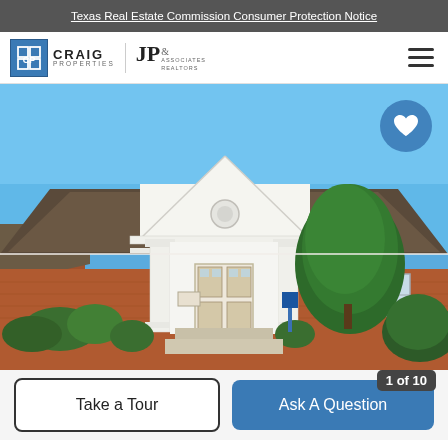Texas Real Estate Commission Consumer Protection Notice
[Figure (logo): Craig Properties and JP & Associates Realtors logos with hamburger menu]
[Figure (photo): Exterior photo of a brick commercial/office building with white classical columns, double glass front door, dark shingled hip roof, and landscaped shrubs under a clear blue sky]
Take a Tour
Ask A Question
1 of 10